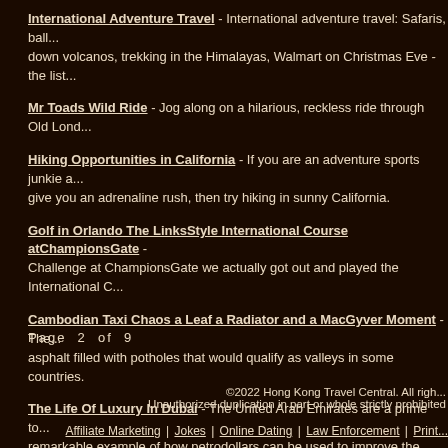International Adventure Travel - International adventure travel: Safaris, ball... down volcanos, trekking in the Himalayas, Walmart on Christmas Eve - the list...
Mr Toads Wild Ride - Jog along on a hilarious, reckless ride through Old Lond...
Hiking Opportunities in California - If you are an adventure sports junkie a... give you an adrenaline rush, then try hiking in sunny California.
Golf in Orlando The LinksStyle International Course atChampionsGate - Challenge at ChampionsGate we actually got out and played the International C...
Cambodian Taxi Chaos a Leaf a Radiator and a MacGyver Moment - The... asphalt filled with potholes that would qualify as valleys in some countries.
The Life Of Luxury In Dubai - The United Arab Emirates are a prime to... remarkable example of how petrodollars can be used to improve the lives of Ara...
Page  2  of  9
©2022 Hong Kong Travel Central. All righ... Unauthorized duplication in part or whole strictly prohibited
Affiliate Marketing | Jokes | Online Dating | Law Enforcement | Print...